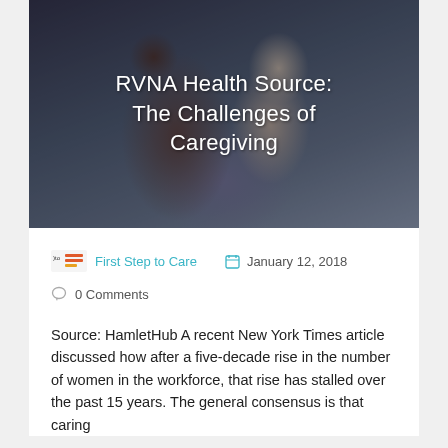[Figure (photo): A caregiver brushing the hair of an elderly woman, shown from behind/side angle. Dark moody background with soft lighting. Text overlay shows the article title.]
RVNA Health Source:
The Challenges of
Caregiving
First Step to Care   January 12, 2018
0 Comments
Source: HamletHub  A recent New York Times article discussed how after a five-decade rise in the number of women in the workforce, that rise has stalled over the past 15 years. The general consensus is that caring